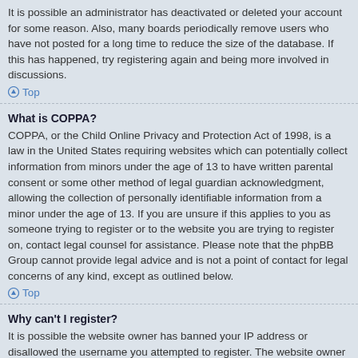It is possible an administrator has deactivated or deleted your account for some reason. Also, many boards periodically remove users who have not posted for a long time to reduce the size of the database. If this has happened, try registering again and being more involved in discussions.
Top
What is COPPA?
COPPA, or the Child Online Privacy and Protection Act of 1998, is a law in the United States requiring websites which can potentially collect information from minors under the age of 13 to have written parental consent or some other method of legal guardian acknowledgment, allowing the collection of personally identifiable information from a minor under the age of 13. If you are unsure if this applies to you as someone trying to register or to the website you are trying to register on, contact legal counsel for assistance. Please note that the phpBB Group cannot provide legal advice and is not a point of contact for legal concerns of any kind, except as outlined below.
Top
Why can't I register?
It is possible the website owner has banned your IP address or disallowed the username you attempted to register. The website owner could have also disabled registration to prevent new visitors from signing up. Contact a board administrator for assistance.
Top
What does the “Delete all board cookies” do?
“Delete all board cookies” deletes the cookies created by phpBB which keep you authenticated and logged into the board. It also provides functions such as read tracking if they have been enabled by the board owner. If you are having login or logout problems, deleting board cookies may help.
Top